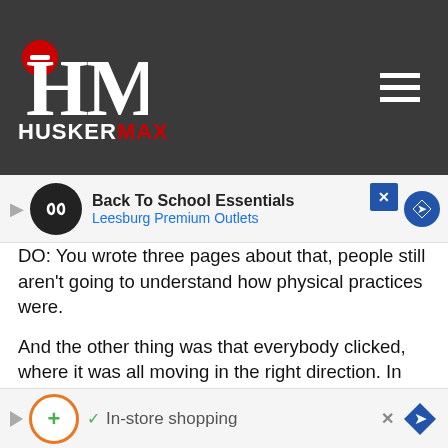[Figure (logo): HuskerMax logo with red circle and HM letters on dark grey background]
[Figure (screenshot): Advertisement banner: Back To School Essentials - Leesburg Premium Outlets]
DO: You wrote three pages about that, people still aren't going to understand how physical practices were.
And the other thing was that everybody clicked, where it was all moving in the right direction. In any organization you're gonna have 10-20% at both ends, the good and the bad. Let's say 20% are good and you're not gonna have to worry about them. The bottom end, you're gonna have 10-20% that you're going to have to deal with on issues. The key is to get that 60% in the middle to follow the good and go that way, then you start to get a few of the bad going the right way, too. It was unreal there, the run that Coach had, that run where I didn't really remember having to push hardly anybody, push them out to practice. The idea was each coordinator... had to go out... 'Resp... Guys
[Figure (screenshot): Advertisement banner: In-store shopping]